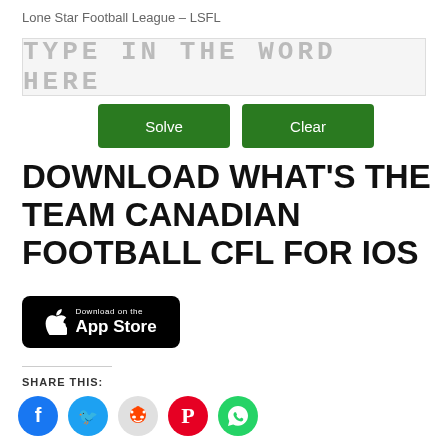Lone Star Football League – LSFL
[Figure (screenshot): Input field with placeholder text TYPE IN THE WORD HERE in gray monospace font on light gray background]
[Figure (screenshot): Two green buttons: Solve and Clear]
DOWNLOAD WHAT'S THE TEAM CANADIAN FOOTBALL CFL FOR IOS
[Figure (logo): Download on the App Store badge — black rounded rectangle with Apple logo and text]
SHARE THIS:
[Figure (infographic): Social sharing icons: Facebook (blue), Twitter (light blue), Reddit (light gray), Pinterest (red), WhatsApp (green)]